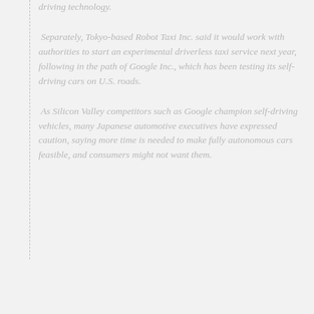driving technology.
Separately, Tokyo-based Robot Taxi Inc. said it would work with authorities to start an experimental driverless taxi service next year, following in the path of Google Inc., which has been testing its self-driving cars on U.S. roads.
As Silicon Valley competitors such as Google champion self-driving vehicles, many Japanese automotive executives have expressed caution, saying more time is needed to make fully autonomous cars feasible, and consumers might not want them.